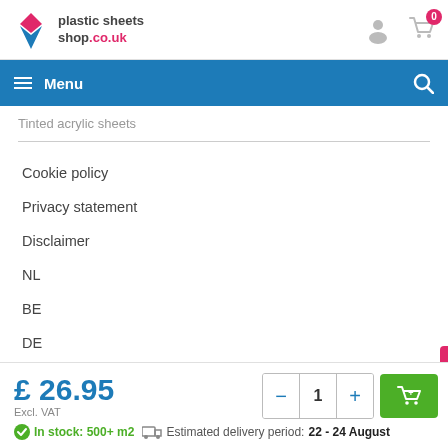plastic sheets shop.co.uk
Menu
Tinted acrylic sheets
Cookie policy
Privacy statement
Disclaimer
NL
BE
DE
£ 26.95 Excl. VAT
In stock: 500+ m2   Estimated delivery period: 22 - 24 August